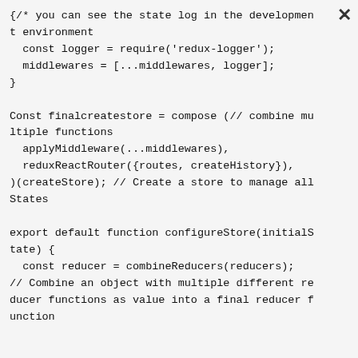// you can see the state log in the development environment
  const logger = require('redux-logger');
  middlewares = [...middlewares, logger];
}

Const finalcreatestore = compose (// combine multiple functions
  applyMiddleware(...middlewares),
  reduxReactRouter({routes, createHistory}),
)(createStore); // Create a store to manage all States

export default function configureStore(initialState) {
  const reducer = combineReducers(reducers);
// Combine an object with multiple different reducer functions as value into a final reducer function